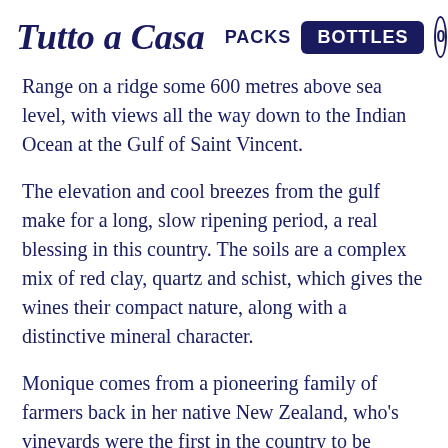Tutto a Casa  PACKS  BOTTLES  0
Range on a ridge some 600 metres above sea level, with views all the way down to the Indian Ocean at the Gulf of Saint Vincent.
The elevation and cool breezes from the gulf make for a long, slow ripening period, a real blessing in this country. The soils are a complex mix of red clay, quartz and schist, which gives the wines their compact nature, along with a distinctive mineral character.
Monique comes from a pioneering family of farmers back in her native New Zealand, who's vineyards were the first in the country to be recognised as organic and biodynamic. Tim is a gifted chef who has cooked at